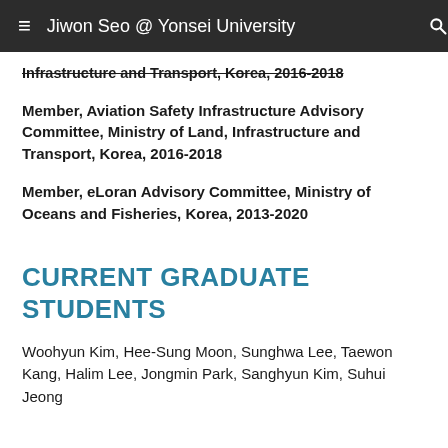Jiwon Seo @ Yonsei University
Infrastructure and Transport, Korea, 2016-2018
Member, Aviation Safety Infrastructure Advisory Committee, Ministry of Land, Infrastructure and Transport, Korea, 2016-2018
Member, eLoran Advisory Committee, Ministry of Oceans and Fisheries, Korea, 2013-2020
CURRENT GRADUATE STUDENTS
Woohyun Kim, Hee-Sung Moon, Sunghwa Lee, Taewon Kang, Halim Lee, Jongmin Park, Sanghyun Kim, Suhui Jeong